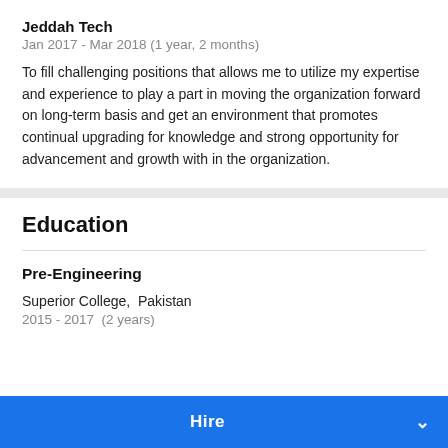Jeddah Tech
Jan 2017 - Mar 2018 (1 year, 2 months)
To fill challenging positions that allows me to utilize my expertise and experience to play a part in moving the organization forward on long-term basis and get an environment that promotes continual upgrading for knowledge and strong opportunity for advancement and growth with in the organization.
Education
Pre-Engineering
Superior College,  Pakistan
2015 - 2017  (2 years)
Hire